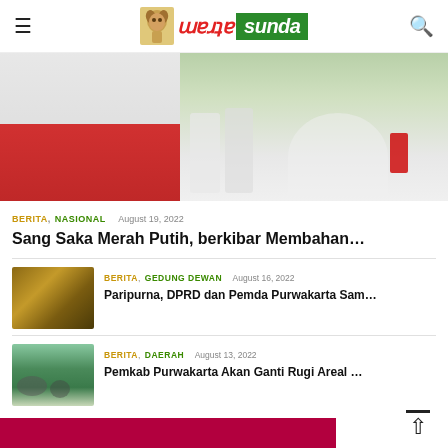Warta Sunda
[Figure (photo): Indonesian flag ceremony photo showing red and white flag being raised, with people in white uniforms in background]
BERITA, NASIONAL   August 19, 2022
Sang Saka Merah Putih, berkibar Membahan…
[Figure (photo): Interior photo of a meeting room or council hall with brown wood tones]
BERITA, GEDUNG DEWAN   August 16, 2022
Paripurna, DPRD dan Pemda Purwakarta Sam…
[Figure (photo): Aerial or landscape photo showing green agricultural fields with people]
BERITA, DAERAH   August 13, 2022
Pemkab Purwakarta Akan Ganti Rugi Areal …